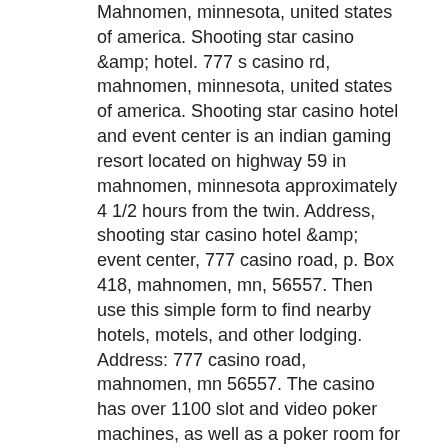Mahnomen, minnesota, united states of america. Shooting star casino &amp; hotel. 777 s casino rd, mahnomen, minnesota, united states of america. Shooting star casino hotel and event center is an indian gaming resort located on highway 59 in mahnomen, minnesota approximately 4 1/2 hours from the twin. Address, shooting star casino hotel &amp; event center, 777 casino road, p. Box 418, mahnomen, mn, 56557. Then use this simple form to find nearby hotels, motels, and other lodging. Address: 777 casino road, mahnomen, mn 56557. The casino has over 1100 slot and video poker machines, as well as a poker room for those hard core gamblers. It also has a fairly large non-smoking section. And read about the team's work-life balance. Uncover why shooting star casino is the best company for you. Slot machine technician in mahnomen, mn. The shooting star casino hotel and event center, in mahnomen, has over 1,100 slot